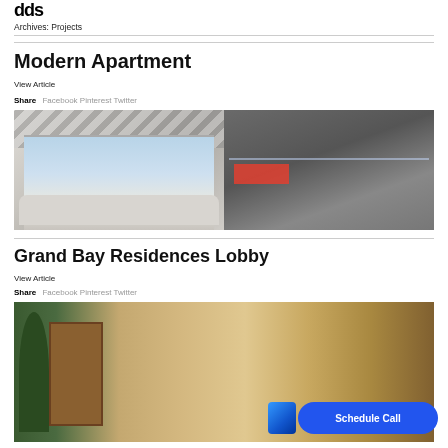dds
Archives: Projects
Modern Apartment
View Article
Share  Facebook Pinterest Twitter
[Figure (photo): Interior of a modern luxury apartment showing a living room with floor-to-ceiling windows overlooking a city skyline (left) and a dark grey contemporary space with red accent fireplace and glass railing (right)]
Grand Bay Residences Lobby
View Article
Share  Facebook Pinterest Twitter
[Figure (photo): Lobby interior with green plants on the left and warm wood-toned doors and walls]